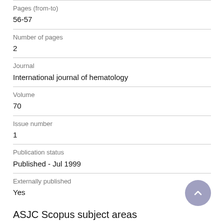Pages (from-to)
56-57
Number of pages
2
Journal
International journal of hematology
Volume
70
Issue number
1
Publication status
Published - Jul 1999
Externally published
Yes
ASJC Scopus subject areas
Hematology